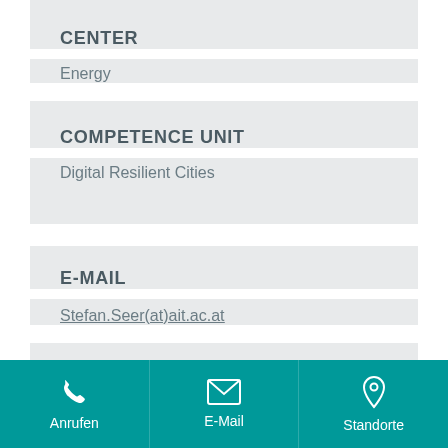CENTER
Energy
COMPETENCE UNIT
Digital Resilient Cities
E-MAIL
Stefan.Seer(at)ait.ac.at
PHONE
Anrufen   E-Mail   Standorte